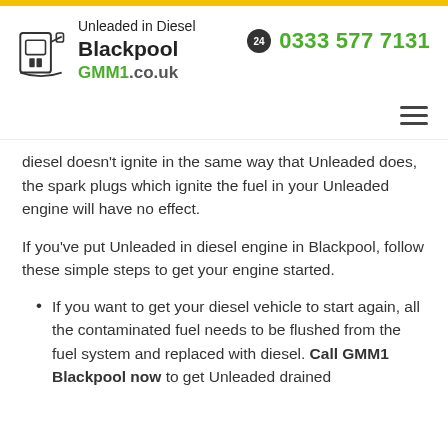[Figure (logo): Unleaded in Diesel Blackpool GMM1.co.uk logo with fuel pump icon]
0333 577 7131
diesel doesn't ignite in the same way that Unleaded does, the spark plugs which ignite the fuel in your Unleaded engine will have no effect.
If you've put Unleaded in diesel engine in Blackpool, follow these simple steps to get your engine started.
If you want to get your diesel vehicle to start again, all the contaminated fuel needs to be flushed from the fuel system and replaced with diesel. Call GMM1 Blackpool now to get Unleaded drained